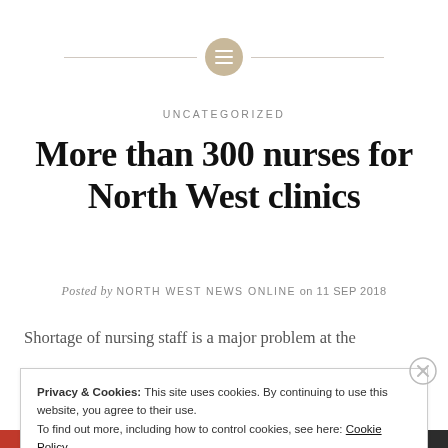[Figure (illustration): Decorative horizontal line with a tan/gold circle icon containing a grid/menu symbol in the center]
UNCATEGORIZED
More than 300 nurses for North West clinics
Posted by NORTH WEST NEWS ONLINE on 11 SEP 2018
Shortage of nursing staff is a major problem at the
Privacy & Cookies: This site uses cookies. By continuing to use this website, you agree to their use.
To find out more, including how to control cookies, see here: Cookie Policy
Close and accept